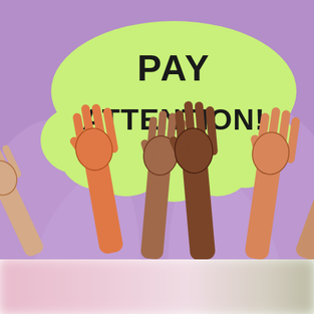[Figure (illustration): Illustration of multiple raised hands of diverse skin tones on a purple background, with a light green speech bubble containing the text 'PAY ATTENTION!' in bold black letters.]
[Figure (photo): Blurred partial photo at the bottom of the page, showing soft pink, white, and green tones.]